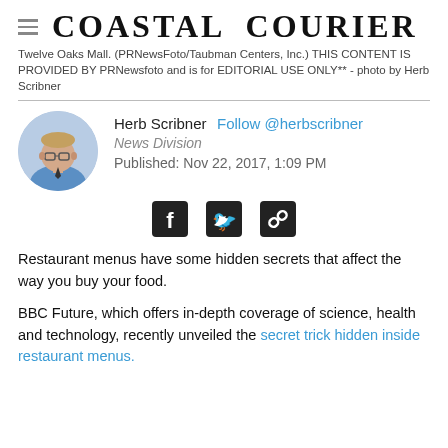Coastal Courier
Twelve Oaks Mall. (PRNewsFoto/Taubman Centers, Inc.) THIS CONTENT IS PROVIDED BY PRNewsfoto and is for EDITORIAL USE ONLY** - photo by Herb Scribner
Herb Scribner Follow @herbscribner
News Division
Published: Nov 22, 2017, 1:09 PM
[Figure (photo): Headshot photo of Herb Scribner, a man with glasses wearing a blue shirt and dark tie, circular crop]
[Figure (infographic): Social media share icons: Facebook, Twitter, and link/chain icon]
Restaurant menus have some hidden secrets that affect the way you buy your food.
BBC Future, which offers in-depth coverage of science, health and technology, recently unveiled the secret trick hidden inside restaurant menus.